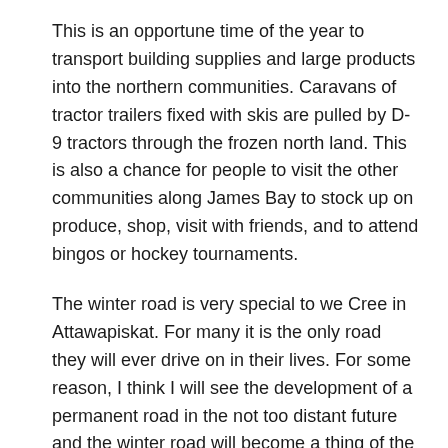This is an opportune time of the year to transport building supplies and large products into the northern communities. Caravans of tractor trailers fixed with skis are pulled by D-9 tractors through the frozen north land. This is also a chance for people to visit the other communities along James Bay to stock up on produce, shop, visit with friends, and to attend bingos or hockey tournaments.
The winter road is very special to we Cree in Attawapiskat. For many it is the only road they will ever drive on in their lives. For some reason, I think I will see the development of a permanent road in the not too distant future and the winter road will become a thing of the past.